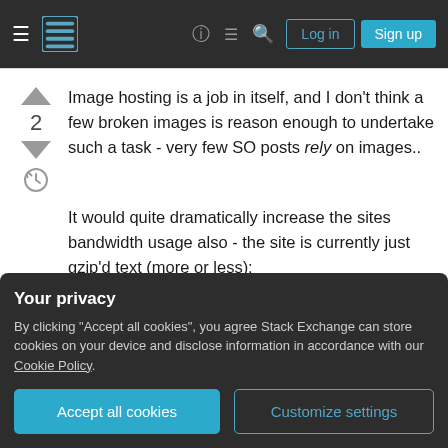Stack Exchange navigation header with Log in and Sign up buttons
Image hosting is a job in itself, and I don't think a few broken images is reason enough to undertake such a task - very few SO posts rely on images..
It would quite dramatically increase the sites bandwidth usage also - the site is currently just gzip'd text (more or less):
Spolsky: What does our site call anyway?
Your privacy
By clicking "Accept all cookies", you agree Stack Exchange can store cookies on your device and disclose information in accordance with our Cookie Policy.
hardly... we don't do any image hosting